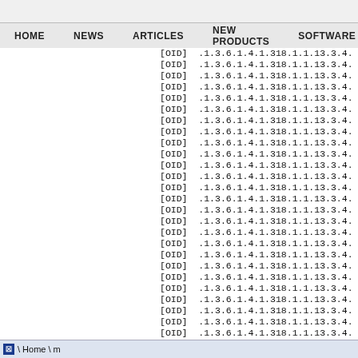HOME   NEWS   ARTICLES   NEW PRODUCTS   SOFTWARE
[OID] .1.3.6.1.4.1.318.1.1.13.3.4.
[OID] .1.3.6.1.4.1.318.1.1.13.3.4.
[OID] .1.3.6.1.4.1.318.1.1.13.3.4.
[OID] .1.3.6.1.4.1.318.1.1.13.3.4.
[OID] .1.3.6.1.4.1.318.1.1.13.3.4.
[OID] .1.3.6.1.4.1.318.1.1.13.3.4.
[OID] .1.3.6.1.4.1.318.1.1.13.3.4.
[OID] .1.3.6.1.4.1.318.1.1.13.3.4.
[OID] .1.3.6.1.4.1.318.1.1.13.3.4.
[OID] .1.3.6.1.4.1.318.1.1.13.3.4.
[OID] .1.3.6.1.4.1.318.1.1.13.3.4.
[OID] .1.3.6.1.4.1.318.1.1.13.3.4.
[OID] .1.3.6.1.4.1.318.1.1.13.3.4.
[OID] .1.3.6.1.4.1.318.1.1.13.3.4.
[OID] .1.3.6.1.4.1.318.1.1.13.3.4.
[OID] .1.3.6.1.4.1.318.1.1.13.3.4.
[OID] .1.3.6.1.4.1.318.1.1.13.3.4.
[OID] .1.3.6.1.4.1.318.1.1.13.3.4.
[OID] .1.3.6.1.4.1.318.1.1.13.3.4.
[OID] .1.3.6.1.4.1.318.1.1.13.3.4.
[OID] .1.3.6.1.4.1.318.1.1.13.3.4.
[OID] .1.3.6.1.4.1.318.1.1.13.3.4.
[OID] .1.3.6.1.4.1.318.1.1.13.3.4.
[OID] .1.3.6.1.4.1.318.1.1.13.3.4.
[OID] .1.3.6.1.4.1.318.1.1.13.3.4.
[OID] .1.3.6.1.4.1.318.1.1.13.3.4.
\ Home \ m